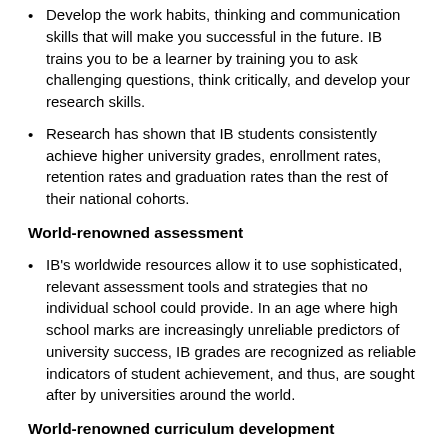Develop the work habits, thinking and communication skills that will make you successful in the future. IB trains you to be a learner by training you to ask challenging questions, think critically, and develop your research skills.
Research has shown that IB students consistently achieve higher university grades, enrollment rates, retention rates and graduation rates than the rest of their national cohorts.
World-renowned assessment
IB's worldwide resources allow it to use sophisticated, relevant assessment tools and strategies that no individual school could provide. In an age where high school marks are increasingly unreliable predictors of university success, IB grades are recognized as reliable indicators of student achievement, and thus, are sought after by universities around the world.
World-renowned curriculum development